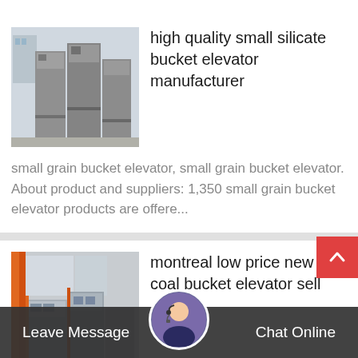[Figure (photo): Photo of large industrial bucket elevator equipment units outdoors, grey metal structures]
high quality small silicate bucket elevator manufacturer
small grain bucket elevator, small grain bucket elevator. About product and suppliers: 1,350 small grain bucket elevator products are offere...
[Figure (photo): Photo of industrial coal bucket elevator equipment in a factory, orange and silver metal structures]
montreal low price new coal bucket elevator sell
efficient portable calcite bucket elevator sell it at...